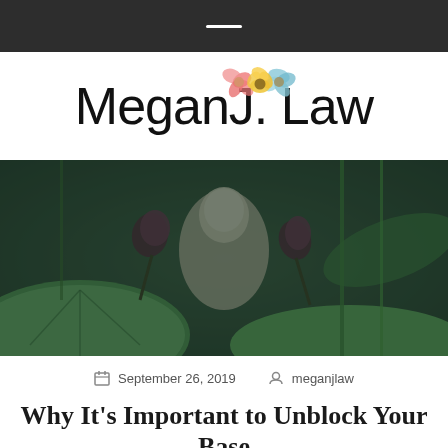[Figure (logo): Megan J. Law logo with watercolor flowers above the text]
[Figure (photo): Garden photo showing a stone Buddha statue surrounded by large green lotus leaves and seed pods with dark purple/brown dried lotus flowers]
September 26, 2019   meganjlaw
Why It's Important to Unblock Your Base